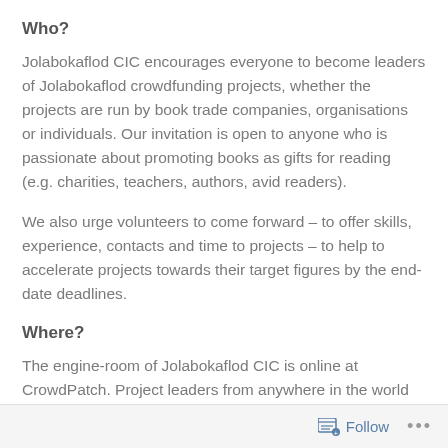Who?
Jolabokaflod CIC encourages everyone to become leaders of Jolabokaflod crowdfunding projects, whether the projects are run by book trade companies, organisations or individuals. Our invitation is open to anyone who is passionate about promoting books as gifts for reading (e.g. charities, teachers, authors, avid readers).
We also urge volunteers to come forward – to offer skills, experience, contacts and time to projects – to help to accelerate projects towards their target figures by the end-date deadlines.
Where?
The engine-room of Jolabokaflod CIC is online at CrowdPatch. Project leaders from anywhere in the world
Follow •••